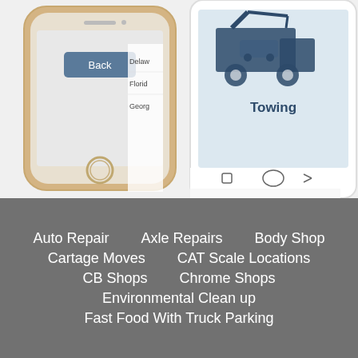[Figure (screenshot): Two smartphone mockups side by side. Left: iPhone showing a screen with a 'Back' button and a list of states (Delaware, Florida, Georgia). Right: Android phone showing a screen with a towing truck icon and the text 'Towing'.]
Auto Repair
Axle Repairs
Body Shop
Cartage Moves
CAT Scale Locations
CB Shops
Chrome Shops
Environmental Clean up
Fast Food With Truck Parking